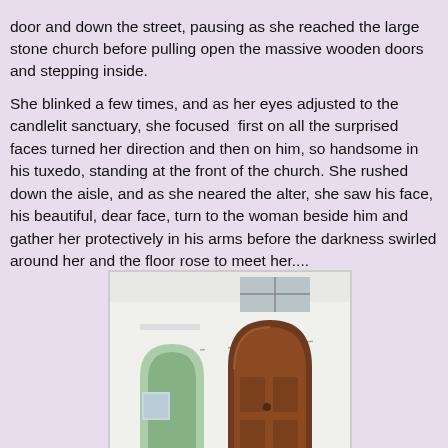door and down the street, pausing as she reached the large stone church before pulling open the massive wooden doors and stepping inside.

She blinked a few times, and as her eyes adjusted to the candlelit sanctuary, she focused  first on all the surprised faces turned her direction and then on him, so handsome in his tuxedo, standing at the front of the church. She rushed down the aisle, and as she neared the alter, she saw his face, his beautiful, dear face, turn to the woman beside him and gather her protectively in his arms before the darkness swirled around her and the floor rose to meet her....
[Figure (photo): Photo of a white church exterior showing arched gothic-style wooden door in brown, a green arched window/doorway to the left, white walls, and rectangular windows near the top.]